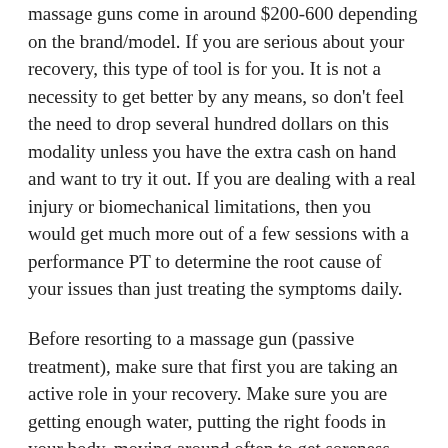massage guns come in around $200-600 depending on the brand/model. If you are serious about your recovery, this type of tool is for you. It is not a necessity to get better by any means, so don't feel the need to drop several hundred dollars on this modality unless you have the extra cash on hand and want to try it out. If you are dealing with a real injury or biomechanical limitations, then you would get much more out of a few sessions with a performance PT to determine the root cause of your issues than just treating the symptoms daily.
Before resorting to a massage gun (passive treatment), make sure that first you are taking an active role in your recovery. Make sure you are getting enough water, putting the right foods in your body, moving around often to get soreness out, and working on any imbalances you have to avoid